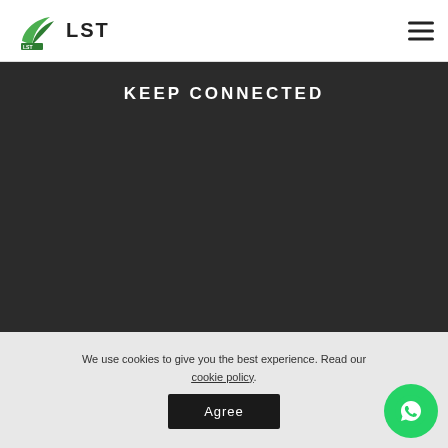LST
KEEP CONNECTED
We use cookies to give you the best experience. Read our cookie policy.
Agree